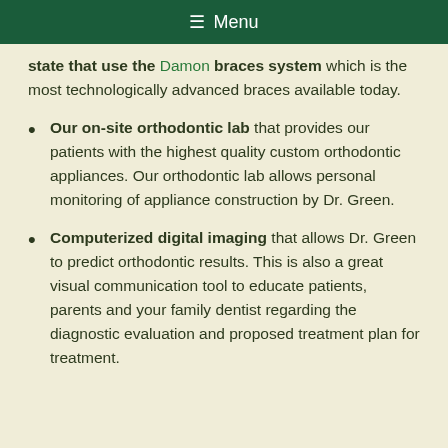☰ Menu
state that use the Damon braces system which is the most technologically advanced braces available today.
Our on-site orthodontic lab that provides our patients with the highest quality custom orthodontic appliances. Our orthodontic lab allows personal monitoring of appliance construction by Dr. Green.
Computerized digital imaging that allows Dr. Green to predict orthodontic results. This is also a great visual communication tool to educate patients, parents and your family dentist regarding the diagnostic evaluation and proposed treatment plan for treatment.